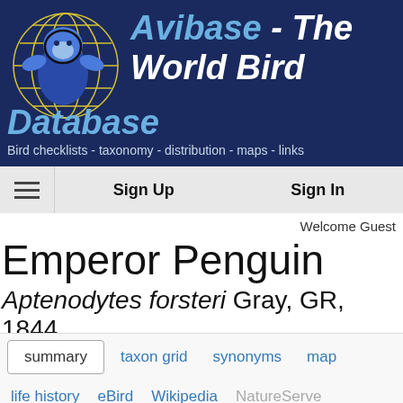[Figure (logo): Avibase logo: stylized globe with yellow grid lines on dark blue background, with blue bird/penguin silhouette]
Avibase - The World Bird Database
Bird checklists - taxonomy - distribution - maps - links
Sign Up   Sign In
Welcome Guest
Emperor Penguin
Aptenodytes forsteri Gray, GR, 1844
summary   taxon grid   synonyms   map   life history   eBird   Wikipedia   NatureServe   ITIS   Flickr   Audio   More links